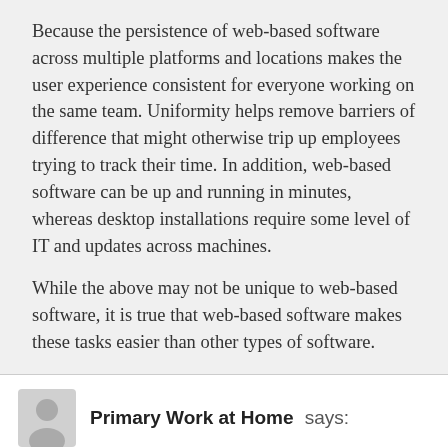Because the persistence of web-based software across multiple platforms and locations makes the user experience consistent for everyone working on the same team. Uniformity helps remove barriers of difference that might otherwise trip up employees trying to track their time. In addition, web-based software can be up and running in minutes, whereas desktop installations require some level of IT and updates across machines.
While the above may not be unique to web-based software, it is true that web-based software makes these tasks easier than other types of software.
Primary Work at Home says:
October 18, 2009 at 1:32 am
This web based software is useful but it’s not really dependable and that is the reason why web owners